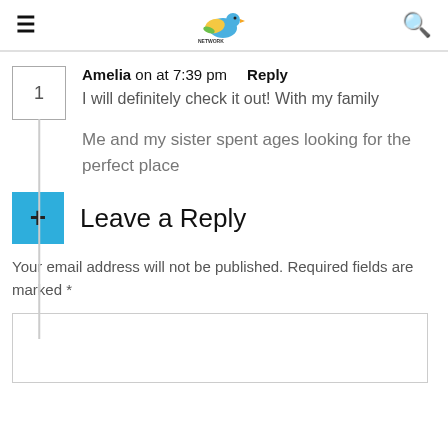Navigation header with hamburger menu, bird network logo, and search icon
Amelia on at 7:39 pm   Reply
I will definitely check it out! With my family

Me and my sister spent ages looking for the perfect place
Leave a Reply
Your email address will not be published. Required fields are marked *